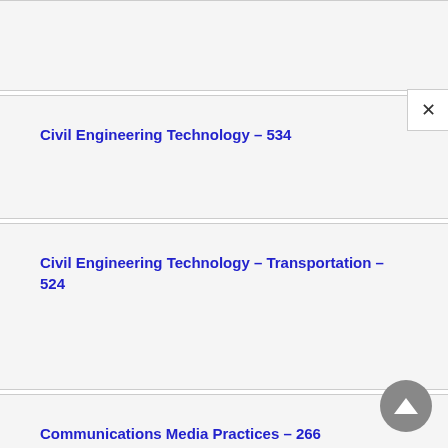Civil Engineering Technology – 534
Civil Engineering Technology – Transportation – 524
Communications Media Practices – 266